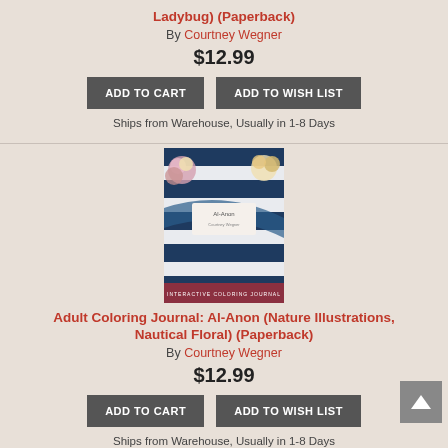Ladybug) (Paperback)
By Courtney Wegner
$12.99
ADD TO CART   ADD TO WISH LIST
Ships from Warehouse, Usually in 1-8 Days
[Figure (photo): Book cover of Adult Coloring Journal: Al-Anon (Nature Illustrations, Nautical Floral) showing navy blue and white stripes with floral illustrations and a label reading Al-Anon, with a burgundy footer band reading INTERACTIVE COLORING JOURNAL]
Adult Coloring Journal: Al-Anon (Nature Illustrations, Nautical Floral) (Paperback)
By Courtney Wegner
$12.99
ADD TO CART   ADD TO WISH LIST
Ships from Warehouse, Usually in 1-8 Days